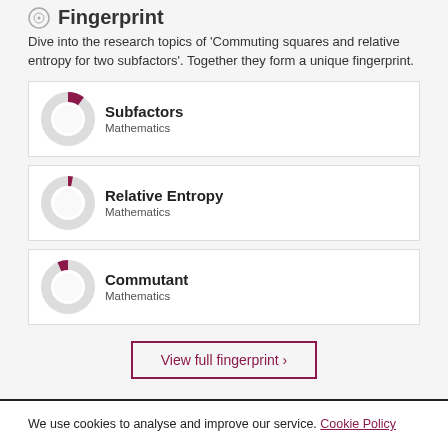Fingerprint
Dive into the research topics of 'Commuting squares and relative entropy for two subfactors'. Together they form a unique fingerprint.
[Figure (donut-chart): Donut chart showing percentage fill for Subfactors topic, roughly 35% filled in dark red]
[Figure (donut-chart): Donut chart showing percentage fill for Relative Entropy topic, roughly 30% filled in dark red]
[Figure (donut-chart): Donut chart showing percentage fill for Commutant topic, roughly 18% filled in dark red]
View full fingerprint >
We use cookies to analyse and improve our service. Cookie Policy